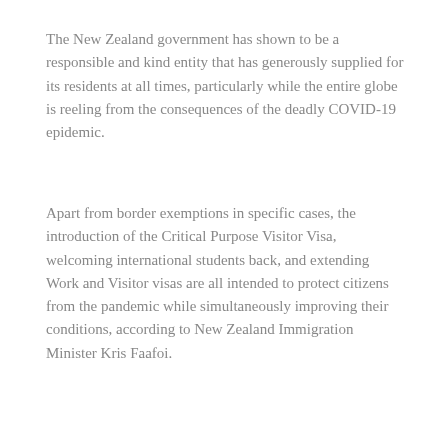The New Zealand government has shown to be a responsible and kind entity that has generously supplied for its residents at all times, particularly while the entire globe is reeling from the consequences of the deadly COVID-19 epidemic.
Apart from border exemptions in specific cases, the introduction of the Critical Purpose Visitor Visa, welcoming international students back, and extending Work and Visitor visas are all intended to protect citizens from the pandemic while simultaneously improving their conditions, according to New Zealand Immigration Minister Kris Faafoi.
Employer Accreditation in New Zealand: A Quick Overview
The New Zealand government has established an international recruiting and retention tool that will benefit NZ firms that need qualified labour anywhere in the world. Many firms in New Zealand have used this recruitment tool to take advantage of the various perks that come with it.